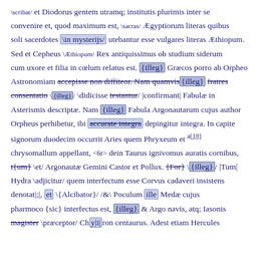\scribat/ et Diodorus gentem utramq; institutis plurimis inter se convenire et, quod maximum est, \sacras/ Ægyptiorum literas quibus soli sacerdotes \in mysterijs/ utebantur esse vulgares literas Æthiopum. Sed et Cepheus \Æthiopum/ Rex antiquissimus ob studium siderum cum uxore et filia in cœlum relatus est. {illeg} Græcos porro ab Orpheo Astronomiam accepisse non diffiteor. Nam quamvis{illeg} fratres consentatio \{illeg}/ \didicisse testantur/ |confirmant| Fabulæ in Asterismis descriptæ. Nam {illeg} Fabula Argonautarum cujus author Orpheus perhibetur, ibi accurate integra depingitur integra. In capite signorum duodecim occurrit Aries quem Phryxeum et a[18] chrysomallum appellant, <6r> dein Taurus ignivomus auratis cornibus, t{um} \et/ Argonautæ Gemini Castor et Pollux. {For} \{illeg}/ |Tum| Hydra \adjicitur/ quem interfectum esse Corvus cadaveri insistens denotat|;|, et \{Alcibator}/ /&\ Poculum ille Medæ cujus pharmoco {sic} interfectus est, {illeg} & Argo navis, atq; Iasonis magister \præceptor/ Chylilron centaurus. Adest etiam Hercules